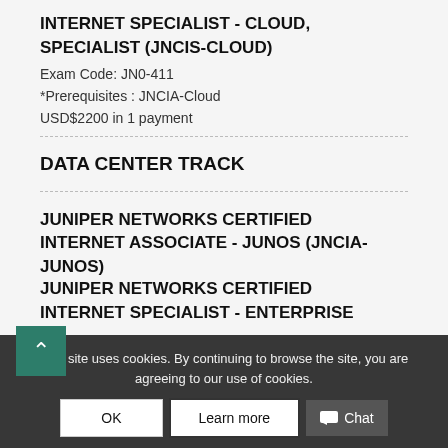INTERNET SPECIALIST - CLOUD, SPECIALIST (JNCIS-CLOUD)
Exam Code: JN0-411
*Prerequisites : JNCIA-Cloud
USD$2200 in 1 payment
DATA CENTER TRACK
JUNIPER NETWORKS CERTIFIED INTERNET ASSOCIATE - JUNOS (JNCIA-JUNOS)
Exam Code: JN0-102
JUNIPER NETWORKS CERTIFIED INTERNET SPECIALIST - ENTERPRISE
This site uses cookies. By continuing to browse the site, you are agreeing to our use of cookies.